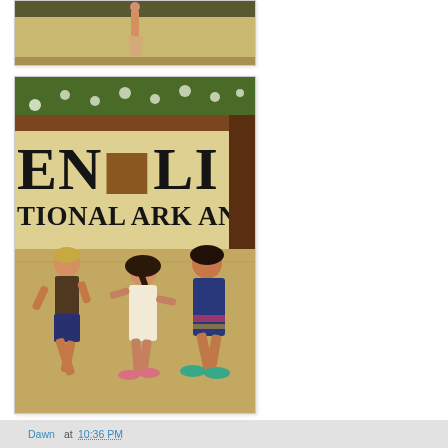[Figure (photo): Partial photo at top showing a person standing in background near tracks or field, cropped at top of page]
[Figure (photo): Three children running and playing in front of a large wooden sign reading 'ENOLI TIONAL ARK AND PRESERVE' (Denali National Park and Preserve sign), outdoor sunny setting with vegetation in background]
Dawn at 10:36 PM
Friday, June 14, 2013
Another Swap Meet!
Eek! Can I just say that my ratio of yards sewn to yards bought is getting precariously low. One of my favorite